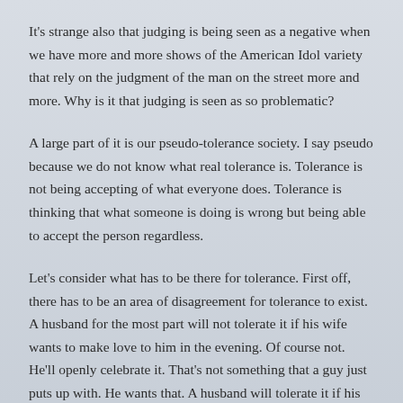It's strange also that judging is being seen as a negative when we have more and more shows of the American Idol variety that rely on the judgment of the man on the street more and more. Why is it that judging is seen as so problematic?
A large part of it is our pseudo-tolerance society. I say pseudo because we do not know what real tolerance is. Tolerance is not being accepting of what everyone does. Tolerance is thinking that what someone is doing is wrong but being able to accept the person regardless.
Let's consider what has to be there for tolerance. First off, there has to be an area of disagreement for tolerance to exist. A husband for the most part will not tolerate it if his wife wants to make love to him in the evening. Of course not. He'll openly celebrate it. That's not something that a guy just puts up with. He wants that. A husband will tolerate it if his wife burns dinner one evening.